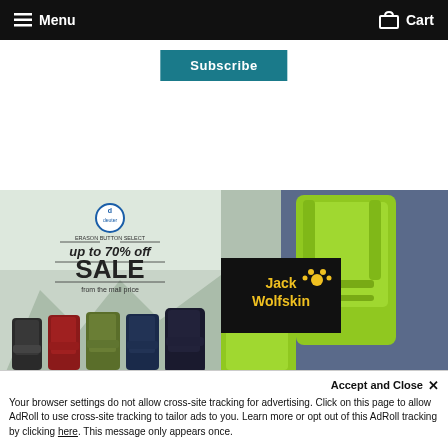Menu   Cart
Subscribe
[Figure (photo): Deuter backpacks sale advertisement showing multiple colored backpacks with text 'up to 70% off SALE from the mall price']
[Figure (photo): Jack Wolfskin brand advertisement showing person wearing bright green hiking backpack with Jack Wolfskin logo]
Accept and Close ×
Your browser settings do not allow cross-site tracking for advertising. Click on this page to allow AdRoll to use cross-site tracking to tailor ads to you. Learn more or opt out of this AdRoll tracking by clicking here. This message only appears once.